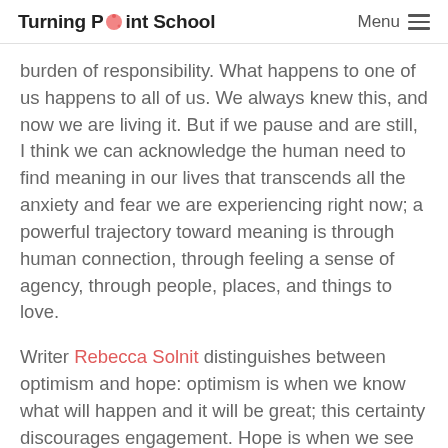Turning Point School  Menu
burden of responsibility. What happens to one of us happens to all of us. We always knew this, and now we are living it. But if we pause and are still, I think we can acknowledge the human need to find meaning in our lives that transcends all the anxiety and fear we are experiencing right now; a powerful trajectory toward meaning is through human connection, through feeling a sense of agency, through people, places, and things to love.
Writer Rebecca Solnit distinguishes between optimism and hope: optimism is when we know what will happen and it will be great; this certainty discourages engagement. Hope is when we see the future as uncertain but something we create, and we proceed forward